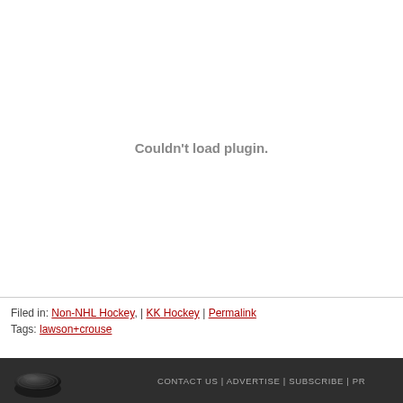[Figure (other): Plugin placeholder showing 'Couldn't load plugin.' message in gray text on white background]
Filed in: Non-NHL Hockey, | KK Hockey | Permalink
Tags: lawson+crouse
CONTACT US | ADVERTISE | SUBSCRIBE | PR...